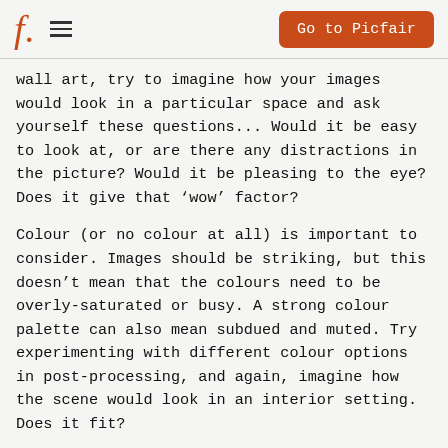f. [hamburger menu] | Go to Picfair
wall art, try to imagine how your images would look in a particular space and ask yourself these questions... Would it be easy to look at, or are there any distractions in the picture? Would it be pleasing to the eye? Does it give that ‘wow’ factor?
Colour (or no colour at all) is important to consider. Images should be striking, but this doesn’t mean that the colours need to be overly-saturated or busy. A strong colour palette can also mean subdued and muted. Try experimenting with different colour options in post-processing, and again, imagine how the scene would look in an interior setting. Does it fit?
Black and white photography is equally as popular as